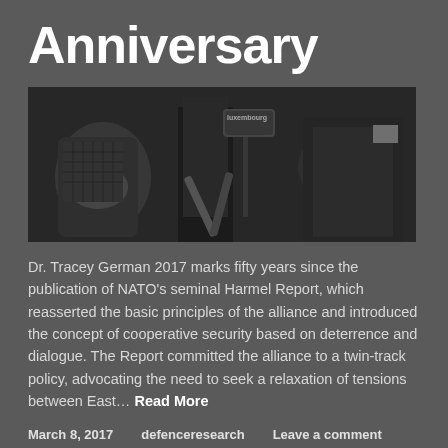Anniversary
[Figure (photo): Black and white photograph of people at a conference or press event, with microphones visible including one labeled 'Luxembourg', hands and suits visible in close-up.]
Dr. Tracey German 2017 marks fifty years since the publication of NATO's seminal Harmel Report, which reasserted the basic principles of the alliance and introduced the concept of cooperative security based on deterrence and dialogue. The Report committed the alliance to a twin-track policy, advocating the need to seek a relaxation of tensions between East… Read More
March 8, 2017    defenceresearch    Leave a comment